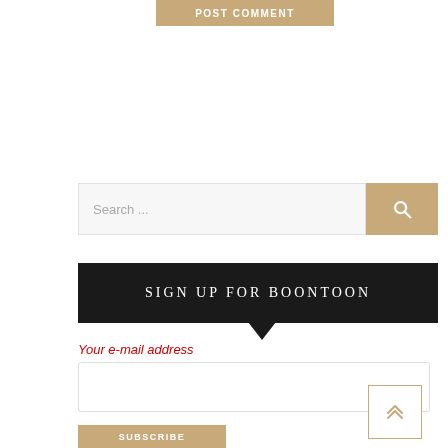[Figure (screenshot): POST COMMENT button in tan/gold color]
[Figure (screenshot): Search bar with tan search button and magnifying glass icon]
SIGN UP FOR BOONTOON
Your e-mail address
[Figure (screenshot): Email input text field, empty]
[Figure (screenshot): SUBSCRIBE button in tan/gold color]
[Figure (screenshot): Scroll to top button with double chevron up arrow]